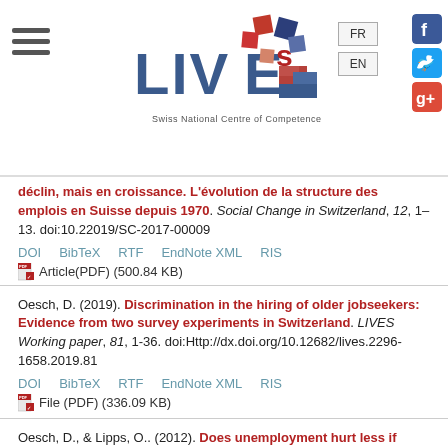[Figure (logo): LIVES Swiss National Centre of Competence in Research logo with colorful squares and hamburger menu]
déclin, mais en croissance. L'évolution de la structure des emplois en Suisse depuis 1970. Social Change in Switzerland, 12, 1–13. doi:10.22019/SC-2017-00009
DOI   BibTeX   RTF   EndNote XML   RIS
Article(PDF) (500.84 KB)
Oesch, D. (2019). Discrimination in the hiring of older jobseekers: Evidence from two survey experiments in Switzerland. LIVES Working paper, 81, 1-36. doi:Http://dx.doi.org/10.12682/lives.2296-1658.2019.81
DOI   BibTeX   RTF   EndNote XML   RIS
File (PDF) (336.09 KB)
Oesch, D., & Lipps, O.. (2012). Does unemployment hurt less if there is more of it around? A panel analysis of life satisfaction in